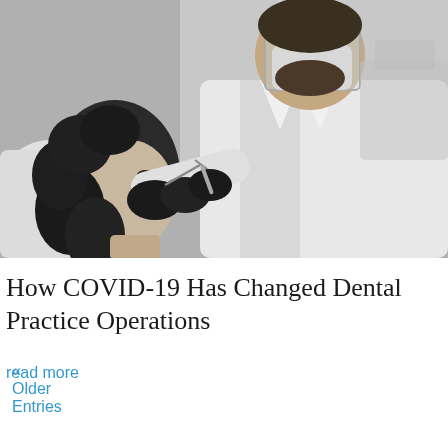[Figure (photo): Black and white photograph of a dentist wearing a face mask, face shield, and dark gloves performing a dental procedure on a female patient with curly dark hair who is reclined in a dental chair. The dentist is holding dental instruments near the patient's mouth.]
How COVID-19 Has Changed Dental Practice Operations
read more
« Older Entries